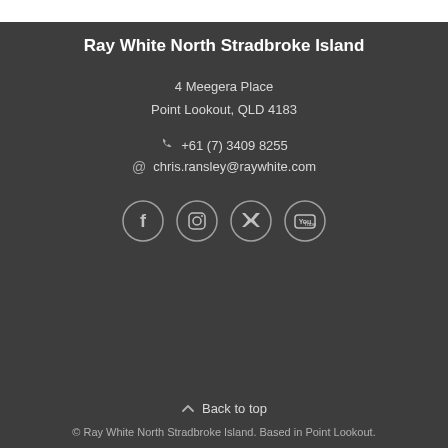Ray White North Stradbroke Island
4 Meegera Place
Point Lookout, QLD 4183
+61 (7) 3409 8255
chris.ransley@raywhite.com
[Figure (illustration): Social media icons: Facebook, Instagram, Twitter, YouTube — circular outlined icons on dark background]
Back to top
© Ray White North Stradbroke Island. Based in Point Lookout.